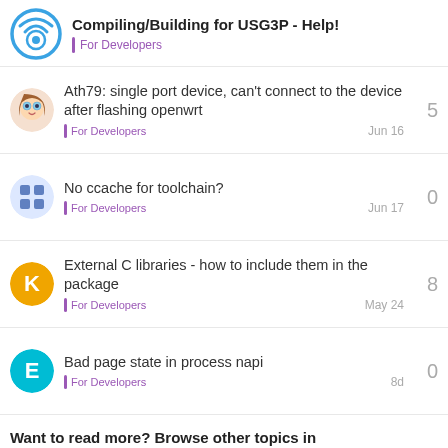Compiling/Building for USG3P - Help! — For Developers
Ath79: single port device, can't connect to the device after flashing openwrt — For Developers — Jun 16 — replies: 5
No ccache for toolchain? — For Developers — Jun 17 — replies: 0
External C libraries - how to include them in the package — For Developers — May 24 — replies: 8
Bad page state in process napi — For Developers — 8d — replies: 0
Want to read more? Browse other topics in For Developers or view latest topics.